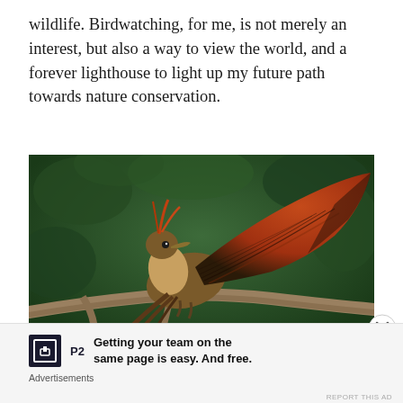wildlife. Birdwatching, for me, is not merely an interest, but also a way to view the world, and a forever lighthouse to light up my future path towards nature conservation.
[Figure (photo): A hoatzin bird with reddish-brown wings spread open, perched on a branch with green foliage in the background.]
Advertisements
Getting your team on the same page is easy. And free.